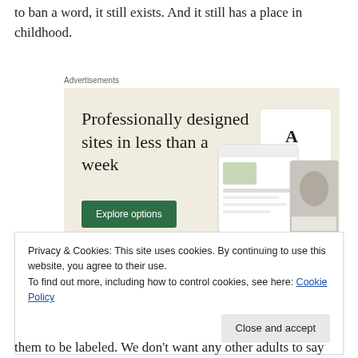to ban a word, it still exists. And it still has a place in childhood.
[Figure (screenshot): Advertisement banner for a web design service. Beige/cream background. Headline: 'Professionally designed sites in less than a week'. Green 'Explore options' button. Right side shows mockup screenshots of websites.]
Privacy & Cookies: This site uses cookies. By continuing to use this website, you agree to their use.
To find out more, including how to control cookies, see here: Cookie Policy
them to be labeled. We don't want any other adults to say